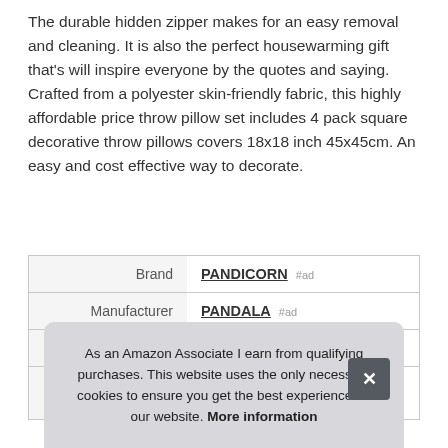The durable hidden zipper makes for an easy removal and cleaning. It is also the perfect housewarming gift that's will inspire everyone by the quotes and saying. Crafted from a polyester skin-friendly fabric, this highly affordable price throw pillow set includes 4 pack square decorative throw pillows covers 18x18 inch 45x45cm. An easy and cost effective way to decorate.
|  |  |
| --- | --- |
| Brand | PANDICORN #ad |
| Manufacturer | PANDALA #ad |
| Part Number | JP-22029 |
As an Amazon Associate I earn from qualifying purchases. This website uses the only necessary cookies to ensure you get the best experience on our website. More information